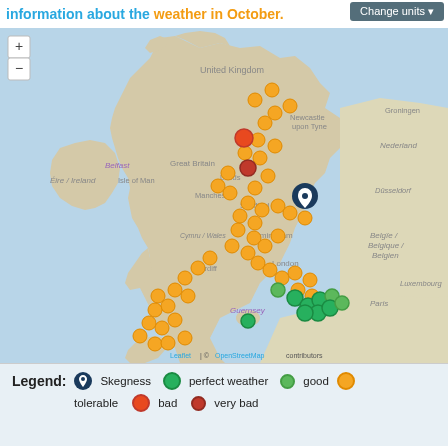Information about the weather in October. Change units ▼
[Figure (map): Interactive map of the United Kingdom and surrounding region (including Ireland, parts of the Netherlands, Belgium, France) showing weather quality dots at various locations. Orange dots (tolerable) are most common across England and Wales. Green dots (perfect weather / good) appear along the southeast coast. Red/dark red dots (bad/very bad) appear in northern England near Leeds/Bradford area. A location marker (pin) is placed at Skegness in central eastern England. Map labels include: United Kingdom, Newcastle upon Tyne, Belfast, Great Britain, Isle of Man, Éire / Ireland, Leeds, Manchester, Sheffield, Birmingham, London, Cardiff, Guernsey, Groningen, Nederland, Düsseldorf, Belgïe / Belgique / Belgien, Paris, Luxembourg. Attribution: Leaflet | © OpenStreetMap contributors.]
Legend:  📍 Skegness  🟢 perfect weather  🟢 good  🟠 tolerable  🔴 bad  🔴 very bad